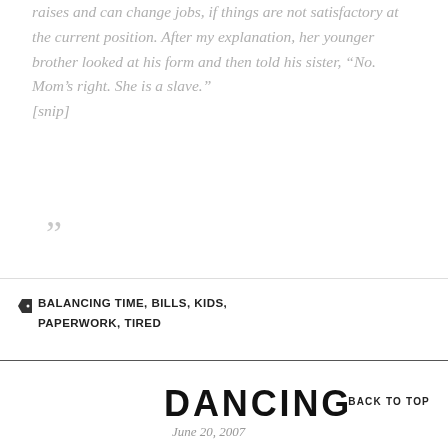raises and can change jobs, if things are not satisfactory at the current position. After my explanation, her younger brother looked at his form and then told his sister, “No. Mom’s right. She is a slave.”
[snip]
BALANCING TIME, BILLS, KIDS, PAPERWORK, TIRED
DANCING
June 20, 2007
BACK TO TOP